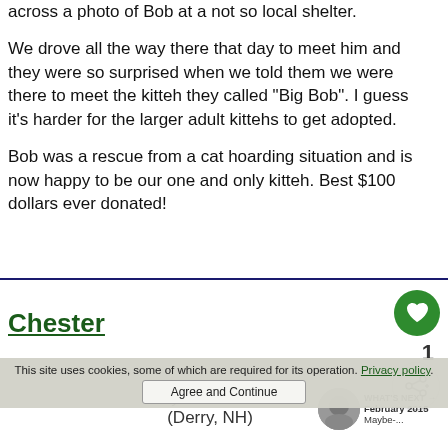across a photo of Bob at a not so local shelter.
We drove all the way there that day to meet him and they were so surprised when we told them we were there to meet the kitteh they called "Big Bob". I guess it's harder for the larger adult kittehs to get adopted.
Bob was a rescue from a cat hoarding situation and is now happy to be our one and only kitteh. Best $100 dollars ever donated!
Chester
By: Joanne A
(Derry, NH)
WHAT'S NEXT → February 2015 Maybe-...
This site uses cookies, some of which are required for its operation. Privacy policy.
Agree and Continue